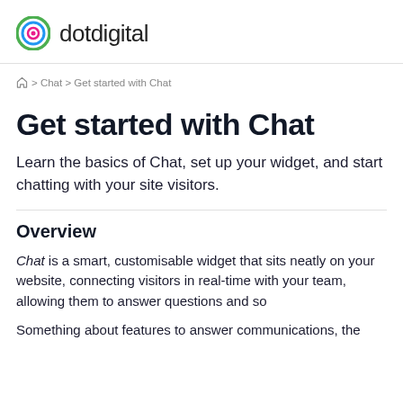dotdigital
⌂ > Chat > Get started with Chat
Get started with Chat
Learn the basics of Chat, set up your widget, and start chatting with your site visitors.
Overview
Chat is a smart, customisable widget that sits neatly on your website, connecting visitors in real-time with your team, allowing them to answer questions and so
Something about features, to answer communications, the...